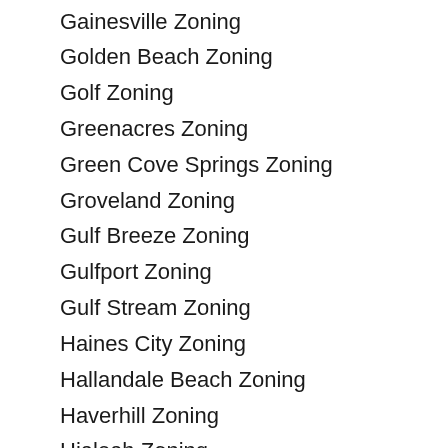Gainesville Zoning
Golden Beach Zoning
Golf Zoning
Greenacres Zoning
Green Cove Springs Zoning
Groveland Zoning
Gulf Breeze Zoning
Gulfport Zoning
Gulf Stream Zoning
Haines City Zoning
Hallandale Beach Zoning
Haverhill Zoning
Hialeah Zoning
Hialeah Gardens Zoning
Highland Beach Zoning
Highland Park Zoning
Hilliard Zoning